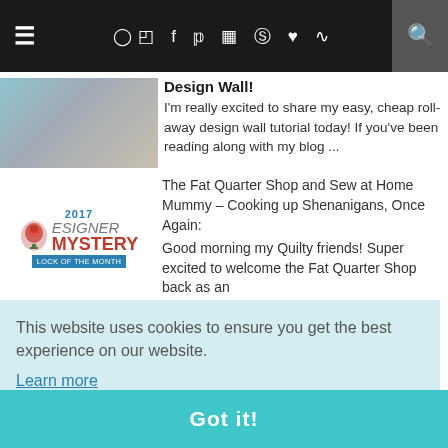≡  [icons]  🔍
Design Wall!
I'm really excited to share my easy, cheap roll-away design wall tutorial today! If you've been reading along with my blog ...
The Fat Quarter Shop and Sew at Home Mummy - Cooking up Shenanigans, Once Again: Good morning my Quilty friends! Super excited to welcome the Fat Quarter Shop back as an ...
This website uses cookies to ensure you get the best experience on our website.
Learn more
o that y made sure to b...
Got it!